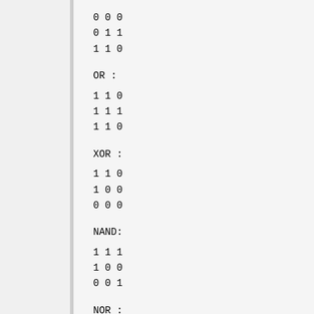0 0 0
0 1 1
1 1 0
OR  :
1 1 0
1 1 1
1 1 0
XOR :
1 1 0
1 0 0
0 0 0
NAND:
1 1 1
1 0 0
0 0 1
NOR :
0 0 1
0 0 0
0 0 1